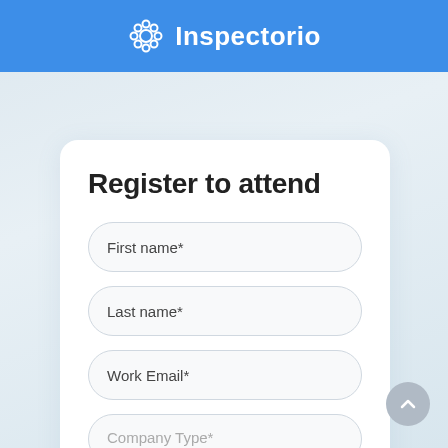Inspectorio
Register to attend
First name*
Last name*
Work Email*
Company Type*